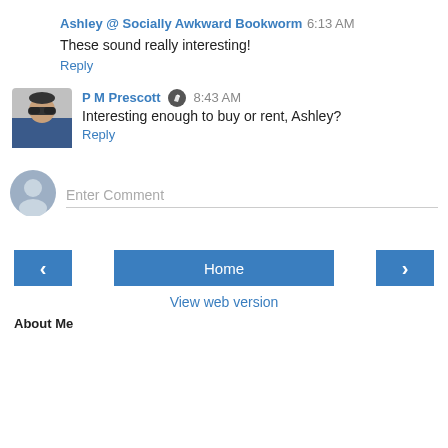Ashley @ Socially Awkward Bookworm  6:13 AM
These sound really interesting!
Reply
[Figure (photo): User avatar photo of P M Prescott, a person wearing sunglasses and a blue jacket]
P M Prescott  8:43 AM
Interesting enough to buy or rent, Ashley?
Reply
[Figure (illustration): Generic user silhouette avatar icon for comment input]
Enter Comment
Home
View web version
About Me